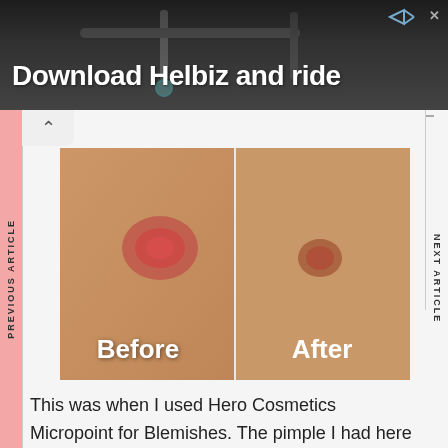[Figure (infographic): Advertisement banner with dark background showing bicycle handlebars and text 'Download Helbiz and ride']
[Figure (photo): Before and after comparison photo showing a skin blemish/pimple on a cheek. Left panel labeled 'Before' shows a red inflamed pimple. Right panel labeled 'After' shows reduced, smaller blemish after treatment with Hero Cosmetics Micropoint for Blemishes.]
This was when I used Hero Cosmetics Micropoint for Blemishes. The pimple I had here was on my cheek and quite painful